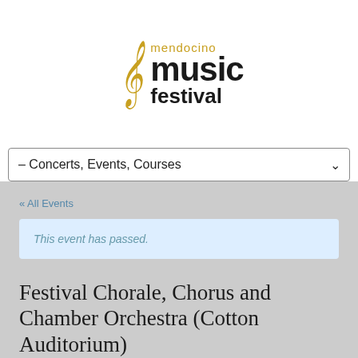[Figure (logo): Mendocino Music Festival logo with golden treble clef and black text reading 'mendocino music festival']
– Concerts, Events, Courses
« All Events
This event has passed.
Festival Chorale, Chorus and Chamber Orchestra (Cotton Auditorium)
Friday, July 22, 7:30 PM PDT
$15 – $35